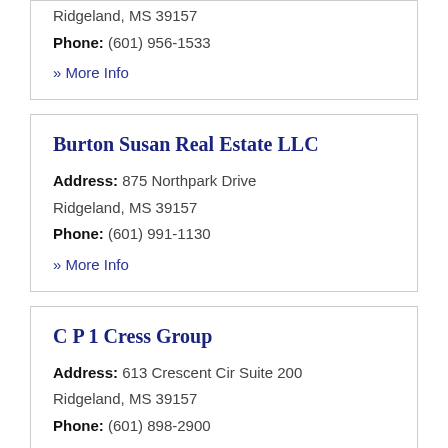Ridgeland, MS 39157
Phone: (601) 956-1533
» More Info
Burton Susan Real Estate LLC
Address: 875 Northpark Drive Ridgeland, MS 39157
Phone: (601) 991-1130
» More Info
C P 1 Cress Group
Address: 613 Crescent Cir Suite 200 Ridgeland, MS 39157
Phone: (601) 898-2900